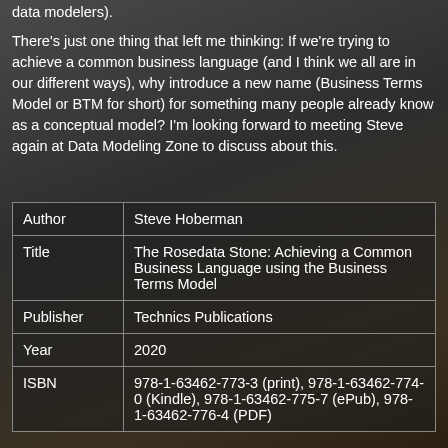data modelers).
There's just one thing that left me thinking: If we're trying to achieve a common business language (and I think we all are in our different ways), why introduce a new name (Business Terms Model or BTM for short) for something many people already know as a conceptual model? I'm looking forward to meeting Steve again at Data Modeling Zone to discuss about this.
|  |  |
| --- | --- |
| Author | Steve Hoberman |
| Title | The Rosedata Stone: Achieving a Common Business Language using the Business Terms Model |
| Publisher | Technics Publications |
| Year | 2020 |
| ISBN | 978-1-63462-773-3 (print), 978-1-63462-774-0 (Kindle), 978-1-63462-775-7 (ePub), 978-1-63462-776-4 (PDF) |